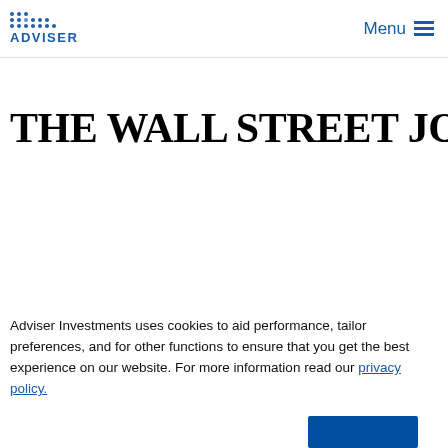ADVISER | Menu
[Figure (logo): The Wall Street Journal logo in large serif bold black text]
Adviser Investments uses cookies to aid performance, tailor preferences, and for other functions to ensure that you get the best experience on our website. For more information read our privacy policy.